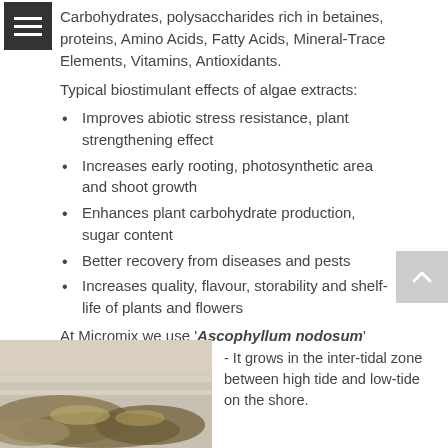Carbohydrates, polysaccharides rich in betaines, proteins, Amino Acids, Fatty Acids, Mineral-Trace Elements, Vitamins, Antioxidants.
Typical biostimulant effects of algae extracts:
Improves abiotic stress resistance, plant strengthening effect
Increases early rooting, photosynthetic area and shoot growth
Enhances plant carbohydrate production, sugar content
Better recovery from diseases and pests
Increases quality, flavour, storability and shelf-life of plants and flowers
At Micromix we use 'Ascophyllum nodosum' from the Atlantic coast:
[Figure (photo): Photo of Ascophyllum nodosum seaweed on the Atlantic shore]
- It grows in the inter-tidal zone between high tide and low-tide on the shore.